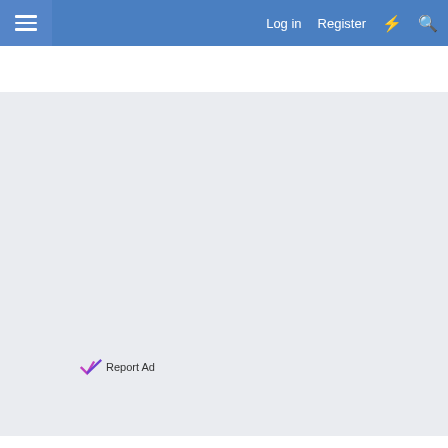Log in   Register
[Figure (screenshot): Advertisement area with light blue-grey background, mostly blank/blurred content]
Report Ad
15 Feb 2022   #1
Report Ad